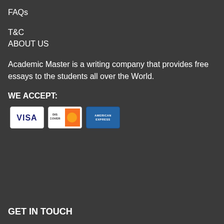FAQs
T&C
ABOUT US
Academic Master is a writing company that provides free essays to the students all over the World.
WE ACCEPT:
[Figure (illustration): Three payment card logos: VISA, DISCOVER, and American Express]
GET IN TOUCH